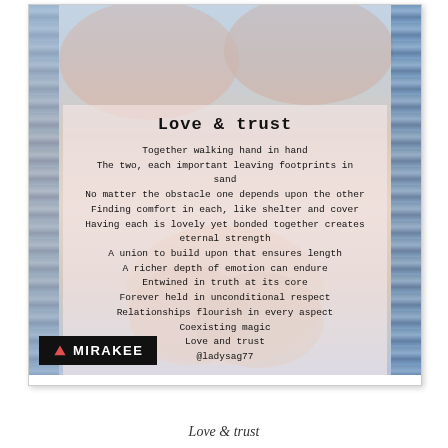[Figure (photo): Polaroid-style photo of two people holding hands, with a poem overlay. Blue wavy borders on left and right sides. Background transitions from blue-grey at top to warm peach tones in the middle and back to blue at the bottom.]
Love & trust
Together walking hand in hand
The two, each important leaving footprints in sand
No matter the obstacle one depends upon the other
Finding comfort in each, like shelter and cover
Having each is lovely yet bonded together creates eternal strength
A union to build upon that ensures length
A richer depth of emotion can endure
Entwined in truth at its core
Forever held in unconditional respect
Relationships flourish in every aspect
Coexisting magic
Love and trust
@ladysag77
Love & trust